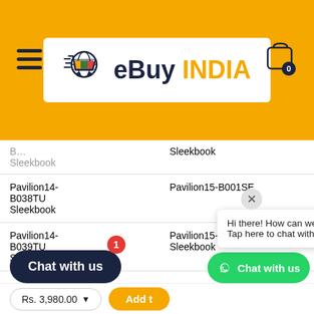[Figure (logo): eBuy INDIA logo with shopping cart icon on white background, set on orange/amber header bar with hamburger menu left and cart icon right]
|  |  |
| --- | --- |
| B0??## Sleekbook | Sleekbook |
| Pavilion14-B038TU Sleekbook | Pavilion15-B001SE |
| Pavilion14-B039TU Sleekbook | Pavilion15-B001SE Sleekbook |
| Pavilion14-B040TU |  |
Hi there! How can we help you? Tap here to chat with us.
Chat with us
Rs. 3,980.00
Add t